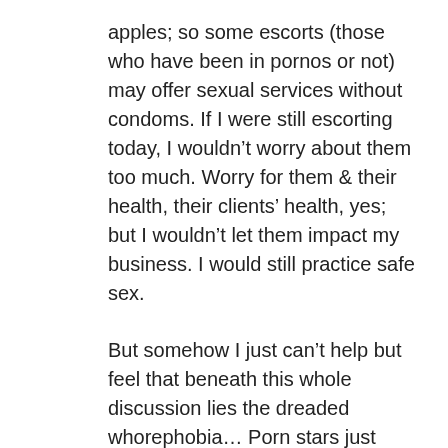apples; so some escorts (those who have been in pornos or not) may offer sexual services without condoms. If I were still escorting today, I wouldn't worry about them too much. Worry for them & their health, their clients' health, yes; but I wouldn't let them impact my business. I would still practice safe sex.
But somehow I just can't help but feel that beneath this whole discussion lies the dreaded whorephobia… Porn stars just aren't supposed to be “sex workers”. They're supposed to have “risen above” that. But the reality is that sex workers are sex workers are sex workers.